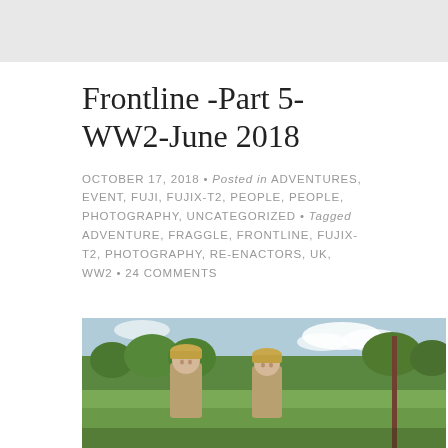Frontline -Part 5-WW2-June 2018
OCTOBER 17, 2018 • Posted in ADVENTURES, EVENT, FUJI, FUJIX-T2, PEOPLE, PEOPLE, PHOTOGRAPHY, UNCATEGORIZED • Tagged ADVENTURE, FRAGGLE, FRONTLINE, FUJIX-T2, PHOTOGRAPHY, RE-ENACTORS, UK, WW2 • 24 COMMENTS
[Figure (photo): Two WW2 re-enactors in khaki military uniforms and caps standing outdoors in a field with trees in the background and a cloudy sky]